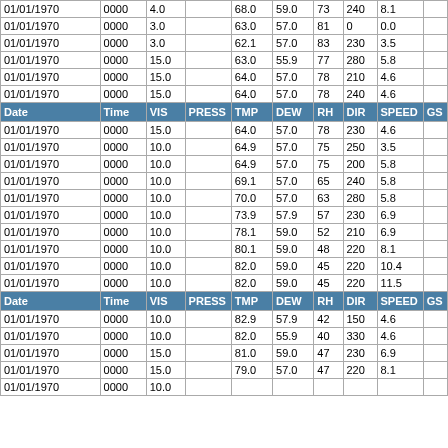| Date | Time | VIS | PRESS | TMP | DEW | RH | DIR | SPEED | GS |
| --- | --- | --- | --- | --- | --- | --- | --- | --- | --- |
| 01/01/1970 | 0000 | 4.0 |  | 68.0 | 59.0 | 73 | 240 | 8.1 |  |
| 01/01/1970 | 0000 | 3.0 |  | 63.0 | 57.0 | 81 | 0 | 0.0 |  |
| 01/01/1970 | 0000 | 3.0 |  | 62.1 | 57.0 | 83 | 230 | 3.5 |  |
| 01/01/1970 | 0000 | 15.0 |  | 63.0 | 55.9 | 77 | 280 | 5.8 |  |
| 01/01/1970 | 0000 | 15.0 |  | 64.0 | 57.0 | 78 | 210 | 4.6 |  |
| 01/01/1970 | 0000 | 15.0 |  | 64.0 | 57.0 | 78 | 240 | 4.6 |  |
| HEADER |  |  |  |  |  |  |  |  |  |
| 01/01/1970 | 0000 | 15.0 |  | 64.0 | 57.0 | 78 | 230 | 4.6 |  |
| 01/01/1970 | 0000 | 10.0 |  | 64.9 | 57.0 | 75 | 250 | 3.5 |  |
| 01/01/1970 | 0000 | 10.0 |  | 64.9 | 57.0 | 75 | 200 | 5.8 |  |
| 01/01/1970 | 0000 | 10.0 |  | 69.1 | 57.0 | 65 | 240 | 5.8 |  |
| 01/01/1970 | 0000 | 10.0 |  | 70.0 | 57.0 | 63 | 280 | 5.8 |  |
| 01/01/1970 | 0000 | 10.0 |  | 73.9 | 57.9 | 57 | 230 | 6.9 |  |
| 01/01/1970 | 0000 | 10.0 |  | 78.1 | 59.0 | 52 | 210 | 6.9 |  |
| 01/01/1970 | 0000 | 10.0 |  | 80.1 | 59.0 | 48 | 220 | 8.1 |  |
| 01/01/1970 | 0000 | 10.0 |  | 82.0 | 59.0 | 45 | 220 | 10.4 |  |
| 01/01/1970 | 0000 | 10.0 |  | 82.0 | 59.0 | 45 | 220 | 11.5 |  |
| HEADER |  |  |  |  |  |  |  |  |  |
| 01/01/1970 | 0000 | 10.0 |  | 82.9 | 57.9 | 42 | 150 | 4.6 |  |
| 01/01/1970 | 0000 | 10.0 |  | 82.0 | 55.9 | 40 | 330 | 4.6 |  |
| 01/01/1970 | 0000 | 15.0 |  | 81.0 | 59.0 | 47 | 230 | 6.9 |  |
| 01/01/1970 | 0000 | 15.0 |  | 79.0 | 57.0 | 47 | 220 | 8.1 |  |
| 01/01/1970 | 0000 | 10.0 |  | ... | ... | ... | ... | ... |  |